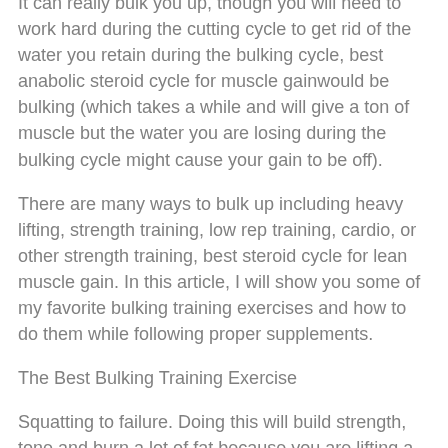It can really bulk you up, though you will need to work hard during the cutting cycle to get rid of the water you retain during the bulking cycle, best anabolic steroid cycle for muscle gainwould be bulking (which takes a while and will give a ton of muscle but the water you are losing during the bulking cycle might cause your gain to be off).
There are many ways to bulk up including heavy lifting, strength training, low rep training, cardio, or other strength training, best steroid cycle for lean muscle gain. In this article, I will show you some of my favorite bulking training exercises and how to do them while following proper supplements.
The Best Bulking Training Exercise
Squatting to failure. Doing this will build strength, tone and burn a lot of fat because you are lifting a lot of weight, on serious